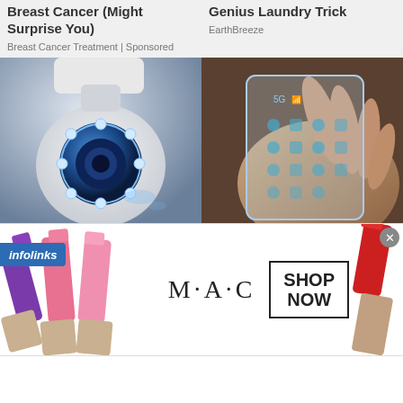Breast Cancer (Might Surprise You)
Breast Cancer Treatment | Sponsored
Genius Laundry Trick
EarthBreeze
[Figure (photo): Close-up of a white smart light bulb security camera with blue LED ring and lens, mounted on ceiling]
[Figure (photo): Hand holding a transparent futuristic smartphone with 5G icon and app icons visible]
New Light Bulb Camera for Both Monitoring and Lighting.
People Are Switching to VoIP Phones (Take a look at the Prices)
VOIP | Search Ads
[Figure (photo): MAC Cosmetics advertisement banner showing colorful lipsticks (purple, pink, red) with MAC logo and SHOP NOW button]